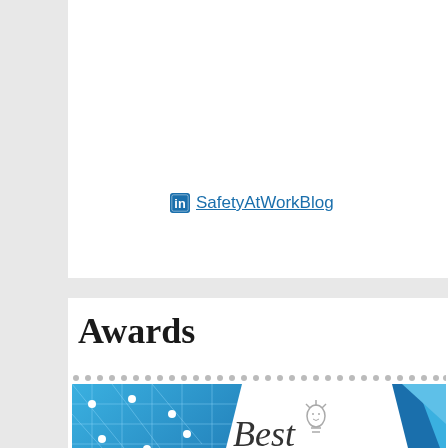SafetyAtWorkBlog
Awards
[Figure (logo): Best Business Blogs - The Smart Decade award badge with blue geometric network design on left and text 'Best BUSINESS Blogs the smart DECADE' on right]